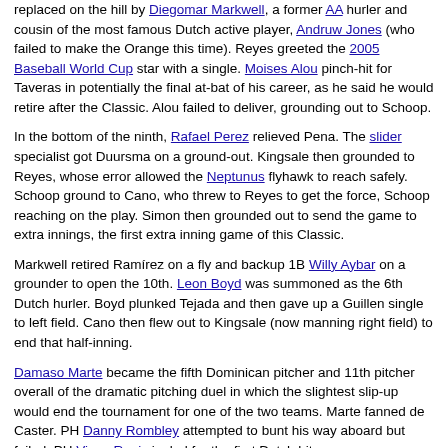replaced on the hill by Diegomar Markwell, a former AA hurler and cousin of the most famous Dutch active player, Andruw Jones (who failed to make the Orange this time). Reyes greeted the 2005 Baseball World Cup star with a single. Moises Alou pinch-hit for Taveras in potentially the final at-bat of his career, as he said he would retire after the Classic. Alou failed to deliver, grounding out to Schoop.
In the bottom of the ninth, Rafael Perez relieved Pena. The slider specialist got Duursma on a ground-out. Kingsale then grounded to Reyes, whose error allowed the Neptunus flyhawk to reach safely. Schoop ground to Cano, who threw to Reyes to get the force, Schoop reaching on the play. Simon then grounded out to send the game to extra innings, the first extra inning game of this Classic.
Markwell retired Ramírez on a fly and backup 1B Willy Aybar on a grounder to open the 10th. Leon Boyd was summoned as the 6th Dutch hurler. Boyd plunked Tejada and then gave up a Guillen single to left field. Cano then flew out to Kingsale (now manning right field) to end that half-inning.
Damaso Marte became the fifth Dominican pitcher and 11th pitcher overall of the dramatic pitching duel in which the slightest slip-up would end the tournament for one of the two teams. Marte fanned de Caster. PH Danny Rombley attempted to bunt his way aboard but failed. PH Vince Rooi singled for the first Dutch hit